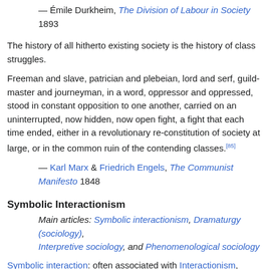— Émile Durkheim, The Division of Labour in Society 1893
The history of all hitherto existing society is the history of class struggles.
Freeman and slave, patrician and plebeian, lord and serf, guild-master and journeyman, in a word, oppressor and oppressed, stood in constant opposition to one another, carried on an uninterrupted, now hidden, now open fight, a fight that each time ended, either in a revolutionary re-constitution of society at large, or in the common ruin of the contending classes.[85]
— Karl Marx & Friedrich Engels, The Communist Manifesto 1848
Symbolic Interactionism
Main articles: Symbolic interactionism, Dramaturgy (sociology), Interpretive sociology, and Phenomenological sociology
Symbolic interaction: often associated with Interactionism,